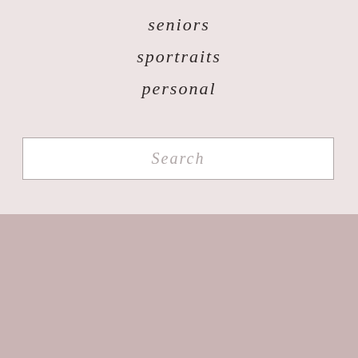seniors
sportraits
personal
Search
[Figure (other): Solid dusty rose / mauve colored background block in the lower half of the page]